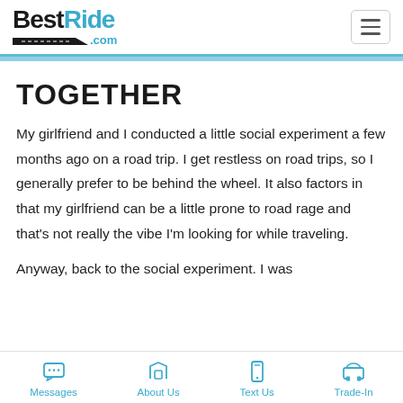BestRide.com
TOGETHER
My girlfriend and I conducted a little social experiment a few months ago on a road trip. I get restless on road trips, so I generally prefer to be behind the wheel. It also factors in that my girlfriend can be a little prone to road rage and that's not really the vibe I'm looking for while traveling.
Anyway, back to the social experiment. I was
Messages | About Us | Text Us | Trade-In